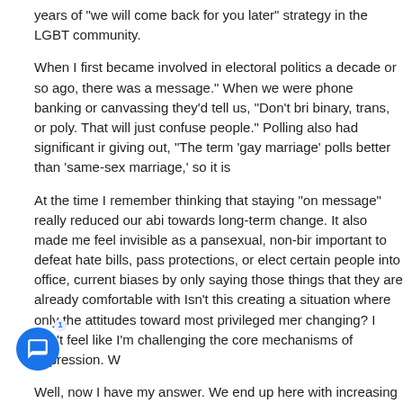years of "we will come back for you later" strategy in the LGBT community.
When I first became involved in electoral politics a decade or so ago, there was a message." When we were phone banking or canvassing they'd tell us, "Don't bri binary, trans, or poly. That will just confuse people." Polling also had significant ir giving out, "The term 'gay marriage' polls better than 'same-sex marriage,' so it is
At the time I remember thinking that staying "on message" really reduced our abi towards long-term change. It also made me feel invisible as a pansexual, non-bii important to defeat hate bills, pass protections, or elect certain people into office, current biases by only saying those things that they are already comfortable with Isn't this creating a situation where only the attitudes toward most privileged mer changing? I don't feel like I'm challenging the core mechanisms of oppression. W
Well, now I have my answer. We end up here with increasing numbers of anti-tra The gap in tolerance between the more accepted and more marginalized membe encouraging bigots to focus their efforts ever more on attacking the most margina as part of their core strategy to oppress our community.
When mainstream organizations and campaigns focus on the needs of the most community, marginalized community members can't meet their needs through the the divides within our community came from. Trans activists, for example, where advocating for gay rights and trans rights are separate. This forces them t